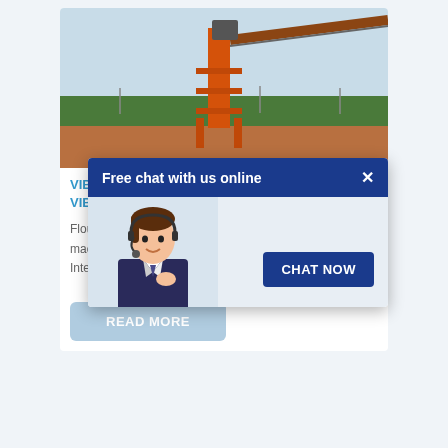[Figure (photo): Industrial conveyor/elevator structure on a construction site with orange metal frame tower and conveyor belt extending diagonally, green trees and blue sky in background]
VIBRA...,CHINA VIBRA...
Flour S... al screening machi... e motor. Interal parts made of stainless steel...
[Figure (screenshot): Chat popup overlay with dark blue header 'Free chat with us online' and close X button, showing customer service agent photo on left and 'CHAT NOW' button on right]
READ MORE